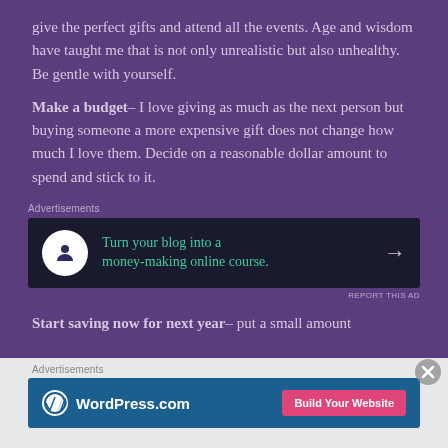give the perfect gifts and attend all the events. Age and wisdom have taught me that is not only unrealistic but also unhealthy. Be gentle with yourself.
Make a budget– I love giving as much as the next person but buying someone a more expensive gift does not change how much I love them. Decide on a reasonable dollar amount to spend and stick to it.
[Figure (other): Advertisement banner: dark background with circular icon showing a person figure, teal text reading 'Turn your blog into a money-making online course.' with a right arrow]
Start saving now for next year– put a small amount
[Figure (other): WordPress.com advertisement banner with blue background, WordPress logo and text, pink 'Build Your Website' button]